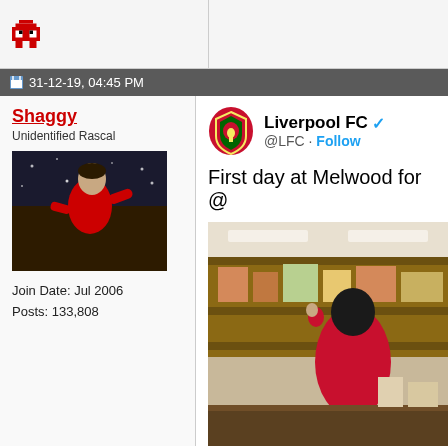[Figure (screenshot): Pixel art red character icon in top-left bar area]
31-12-19, 04:45 PM
Shaggy
Unidentified Rascal
[Figure (photo): Photo of a man in red jacket running, snowy sports scene - forum avatar]
Join Date: Jul 2006
Posts: 133,808
[Figure (screenshot): Liverpool FC tweet showing @LFC account with verified badge, text 'First day at Melwood for @' and a photo of a person in red jacket in a cafeteria/reception area]